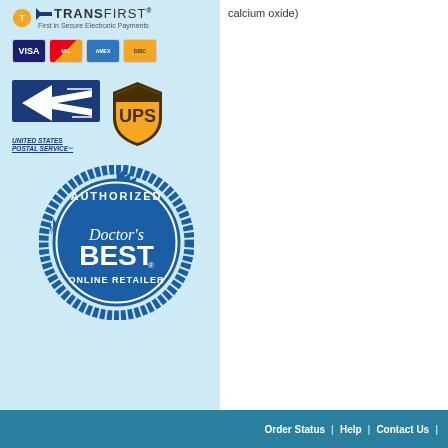[Figure (logo): TransFirst logo - First in Secure Electronic Payments]
[Figure (logo): Credit card logos: Visa, MasterCard, American Express, Discover]
[Figure (logo): United States Postal Service logo and UPS logo]
[Figure (logo): Authorized Doctor's Best Online Retailer seal]
calcium oxide)
Order Status | Help | Contact Us